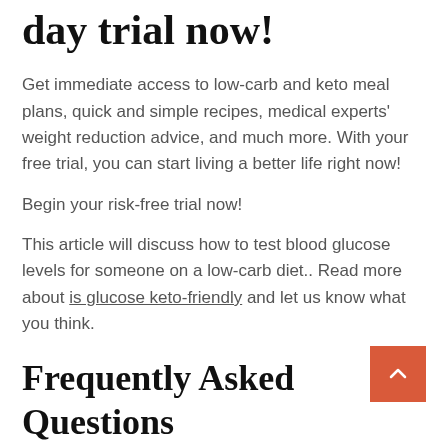day trial now!
Get immediate access to low-carb and keto meal plans, quick and simple recipes, medical experts' weight reduction advice, and much more. With your free trial, you can start living a better life right now!
Begin your risk-free trial now!
This article will discuss how to test blood glucose levels for someone on a low-carb diet.. Read more about is glucose keto-friendly and let us know what you think.
Frequently Asked Questions
How does a low-carb diet affect...